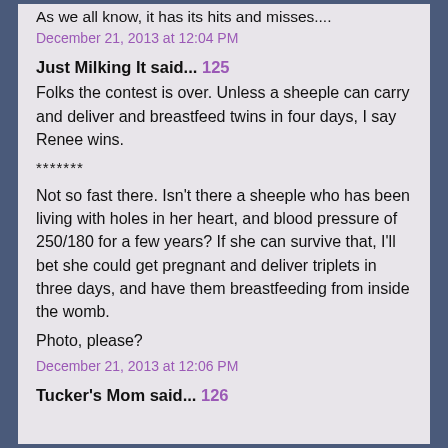As we all know, it has its hits and misses....
December 21, 2013 at 12:04 PM
Just Milking It said... 125
Folks the contest is over. Unless a sheeple can carry and deliver and breastfeed twins in four days, I say Renee wins.
*******
Not so fast there. Isn't there a sheeple who has been living with holes in her heart, and blood pressure of 250/180 for a few years? If she can survive that, I'll bet she could get pregnant and deliver triplets in three days, and have them breastfeeding from inside the womb.
Photo, please?
December 21, 2013 at 12:06 PM
Tucker's Mom said... 126